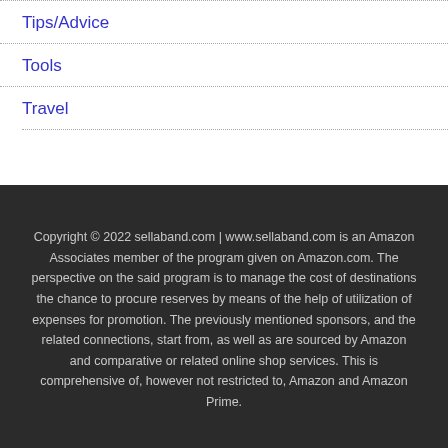Tips/Advice
Tools
Travel
Copyright © 2022 sellaband.com | www.sellaband.com is an Amazon Associates member of the program given on Amazon.com. The perspective on the said program is to manage the cost of destinations the chance to procure reserves by means of the help of utilization of expenses for promotion. The previously mentioned sponsors, and the related connections, start from, as well as are sourced by Amazon and comparative or related online shop services. This is comprehensive of, however not restricted to, Amazon and Amazon Prime.